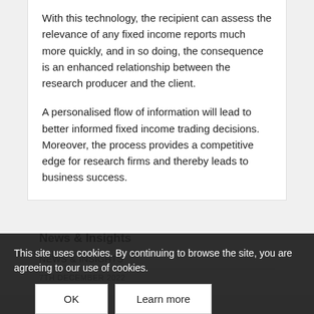With this technology, the recipient can assess the relevance of any fixed income reports much more quickly, and in so doing, the consequence is an enhanced relationship between the research producer and the client.
A personalised flow of information will lead to better informed fixed income trading decisions. Moreover, the process provides a competitive edge for research firms and thereby leads to business success.
News & Insights
NEWS & INSIGHTS
7TH DECEMBER 2022
Sales + In-house...
30TH NOVEMBER 2...
Gaining an edge through research
This site uses cookies. By continuing to browse the site, you are agreeing to our use of cookies.